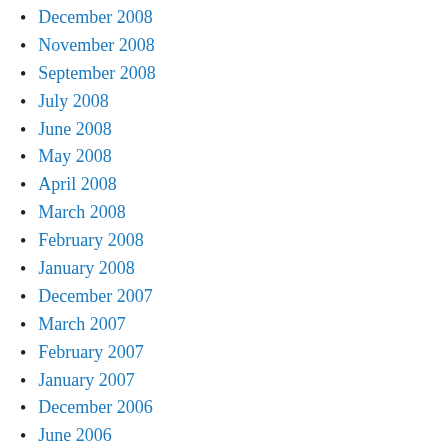December 2008
November 2008
September 2008
July 2008
June 2008
May 2008
April 2008
March 2008
February 2008
January 2008
December 2007
March 2007
February 2007
January 2007
December 2006
June 2006